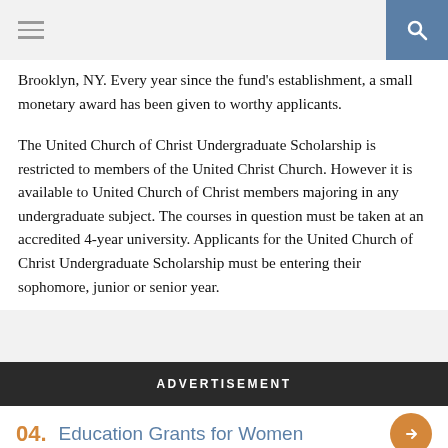☰ [search]
Brooklyn, NY. Every year since the fund's establishment, a small monetary award has been given to worthy applicants.
The United Church of Christ Undergraduate Scholarship is restricted to members of the United Christ Church. However it is available to United Church of Christ members majoring in any undergraduate subject. The courses in question must be taken at an accredited 4-year university. Applicants for the United Church of Christ Undergraduate Scholarship must be entering their sophomore, junior or senior year.
ADVERTISEMENT
04. Education Grants for Women